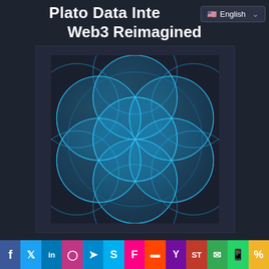Plato Data Intelligence Web3 Reimagined
[Figure (logo): Plato Data Intelligence geometric flower-of-life style logo made of overlapping blue circles on dark background]
Binance CEO Changpeng Zhao Says Top Exchange Is Not ‘Chinese Company’ Amid
Social share buttons: Facebook, Twitter, LinkedIn, Instagram, Telegram, Skype, Flipboard, Reddit, Yahoo, SiteTag, Mail, WhatsApp, Copy